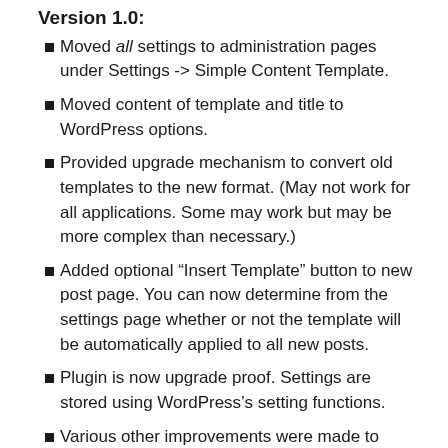Version 1.0:
Moved all settings to administration pages under Settings -> Simple Content Template.
Moved content of template and title to WordPress options.
Provided upgrade mechanism to convert old templates to the new format. (May not work for all applications. Some may work but may be more complex than necessary.)
Added optional “Insert Template” button to new post page. You can now determine from the settings page whether or not the template will be automatically applied to all new posts.
Plugin is now upgrade proof. Settings are stored using WordPress’s setting functions.
Various other improvements were made to address inefficiencies in the first version.
Version 0.1: